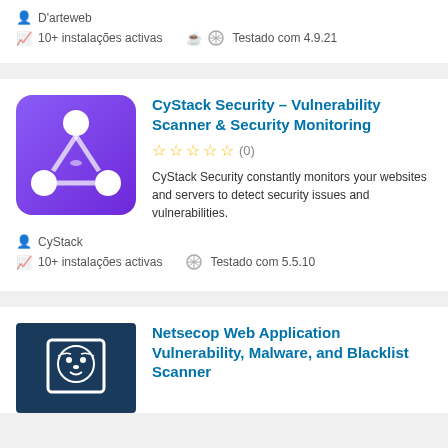D'arteweb
10+ instalações activas   Testado com 4.9.21
[Figure (logo): CyStack Security purple gradient logo with network node icon]
CyStack Security – Vulnerability Scanner & Security Monitoring
(0) stars
CyStack Security constantly monitors your websites and servers to detect security issues and vulnerabilities.
CyStack
10+ instalações activas   Testado com 5.5.10
[Figure (logo): Netsecop dark blue logo with lion/shield icon]
Netsecop Web Application Vulnerability, Malware, and Blacklist Scanner